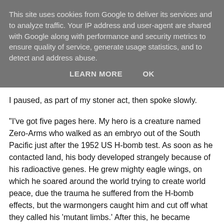This site uses cookies from Google to deliver its services and to analyze traffic. Your IP address and user-agent are shared with Google along with performance and security metrics to ensure quality of service, generate usage statistics, and to detect and address abuse.
LEARN MORE    OK
I paused, as part of my stoner act, then spoke slowly.
"I've got five pages here. My hero is a creature named Zero-Arms who walked as an embryo out of the South Pacific just after the 1952 US H-bomb test. As soon as he contacted land, his body developed strangely because of his radioactive genes. He grew mighty eagle wings, on which he soared around the world trying to create world peace, due the trauma he suffered from the H-bomb effects, but the warmongers caught him and cut off what they called his 'mutant limbs.' After this, he became known as Zero-Arms, and retreated to live in the Himalayas where